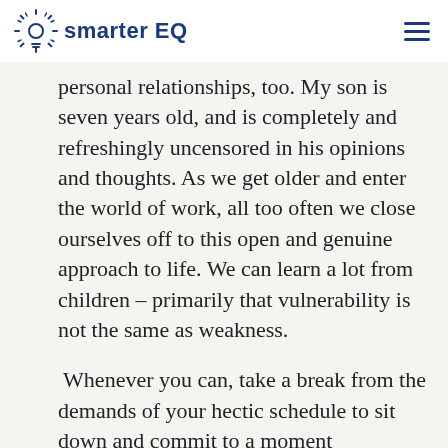smarter EQ
personal relationships, too. My son is seven years old, and is completely and refreshingly uncensored in his opinions and thoughts. As we get older and enter the world of work, all too often we close ourselves off to this open and genuine approach to life. We can learn a lot from children – primarily that vulnerability is not the same as weakness.
Whenever you can, take a break from the demands of your hectic schedule to sit down and commit to a moment